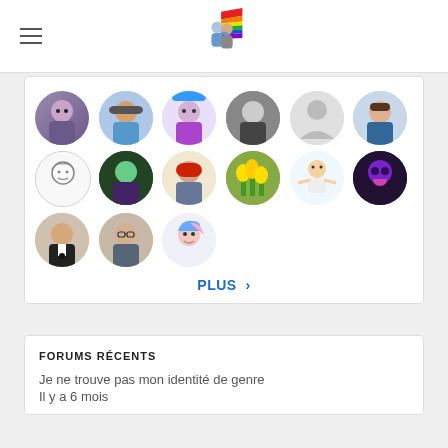[Figure (illustration): Website logo with two people hugging under a rainbow flag]
[Figure (photo): Grid of 15 circular user avatar images arranged in 3 rows of 6, 6, and 3]
PLUS >
FORUMS RÉCENTS
Je ne trouve pas mon identité de genre
Il y a 6 mois